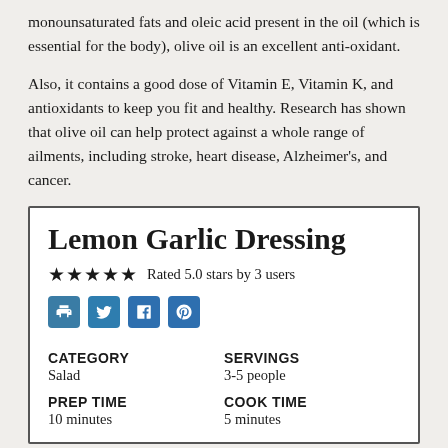monounsaturated fats and oleic acid present in the oil (which is essential for the body), olive oil is an excellent anti-oxidant.
Also, it contains a good dose of Vitamin E, Vitamin K, and antioxidants to keep you fit and healthy. Research has shown that olive oil can help protect against a whole range of ailments, including stroke, heart disease, Alzheimer's, and cancer.
Lemon Garlic Dressing
Rated 5.0 stars by 3 users
| CATEGORY | SERVINGS | PREP TIME | COOK TIME |
| --- | --- | --- | --- |
| Salad | 3-5 people | 10 minutes | 5 minutes |